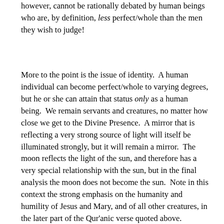Jesus or in Muhammad. Such a question, however, cannot be rationally debated by human beings who are, by definition, less perfect/whole than the men they wish to judge!
More to the point is the issue of identity.  A human individual can become perfect/whole to varying degrees, but he or she can attain that status only as a human being.  We remain servants and creatures, no matter how close we get to the Divine Presence.  A mirror that is reflecting a very strong source of light will itself be illuminated strongly, but it will remain a mirror.  The moon reflects the light of the sun, and therefore has a very special relationship with the sun, but in the final analysis the moon does not become the sun.  Note in this context the strong emphasis on the humanity and humility of Jesus and Mary, and of all other creatures, in the later part of the Qur'anic verse quoted above.